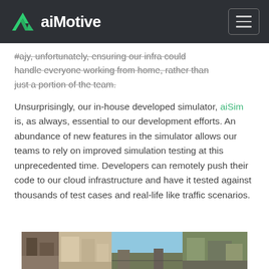aiMotive
...ajy, unfortunately, ensuring our infra could handle everyone working from home, rather than just a portion of the team.
Unsurprisingly, our in-house developed simulator, aiSim is, as always, essential to our development efforts. An abundance of new features in the simulator allows our teams to rely on improved simulation testing at this unprecedented time. Developers can remotely push their code to our cloud infrastructure and have it tested against thousands of test cases and real-life like traffic scenarios.
[Figure (photo): Urban street scene simulation screenshot showing city buildings, road, and traffic environment rendered in aiSim simulator]